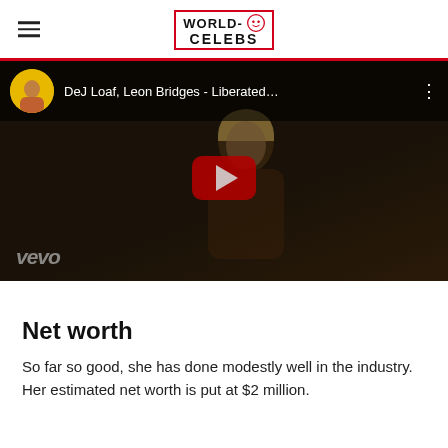WORLD-CELEBS
[Figure (screenshot): YouTube/Vevo embedded video player showing 'DeJ Loaf, Leon Bridges - Liberated...' with a red play button in the center and vevo watermark at bottom left. Dark video thumbnail with a person visible.]
Net worth
So far so good, she has done modestly well in the industry. Her estimated net worth is put at $2 million.